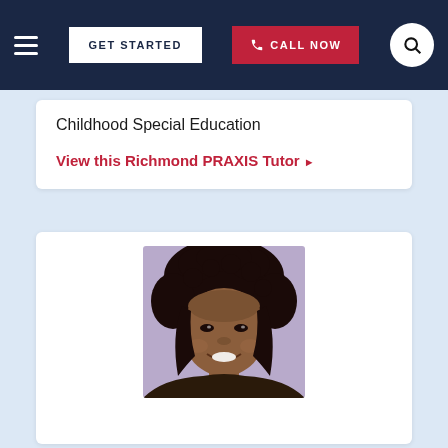GET STARTED | CALL NOW
Childhood Special Education
View this Richmond PRAXIS Tutor ▶
[Figure (photo): Portrait photo of a smiling woman with curly dark hair against a light purple background]